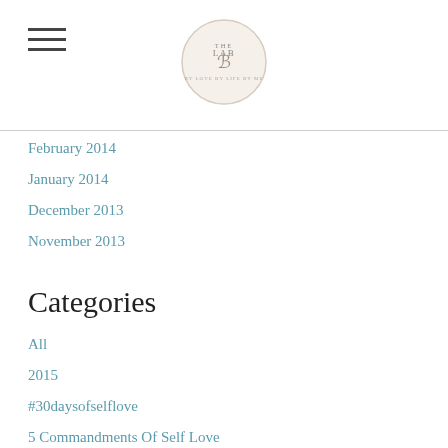[Logo: The Lab]
February 2014
January 2014
December 2013
November 2013
Categories
All
2015
#30daysofselflove
5 Commandments Of Self Love
Acceptance
Adventure
Beauty
Body
Celebrity News
Commitment